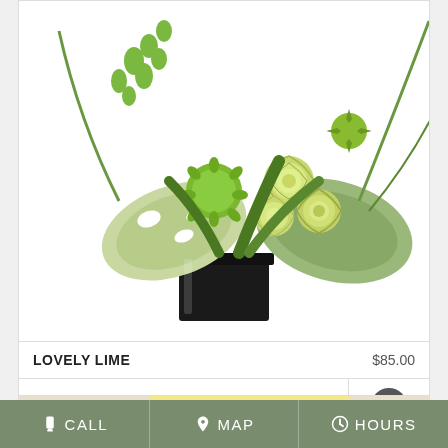[Figure (photo): Green floral arrangement with lime roses, green foliage, and tropical leaves in a black square vase on white background]
LOVELY LIME   $85.00
BUY NOW
[Figure (photo): Birthday flower arrangement promotional image with teal circle overlay showing a rose icon and the word BIRTHDAY]
CALL   MAP   HOURS